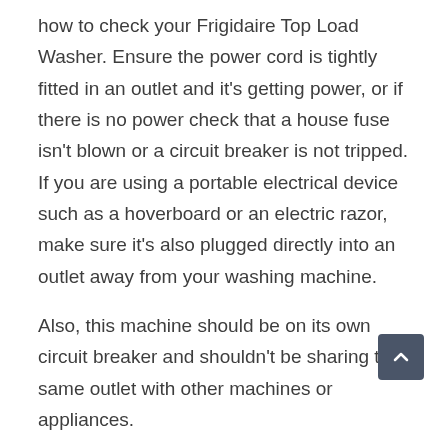how to check your Frigidaire Top Load Washer. Ensure the power cord is tightly fitted in an outlet and it's getting power, or if there is no power check that a house fuse isn't blown or a circuit breaker is not tripped. If you are using a portable electrical device such as a hoverboard or an electric razor, make sure it's also plugged directly into an outlet away from your washing machine.
Also, this machine should be on its own circuit breaker and shouldn't be sharing the same outlet with other machines or appliances.
Frigidaire Washer Will Not Spin